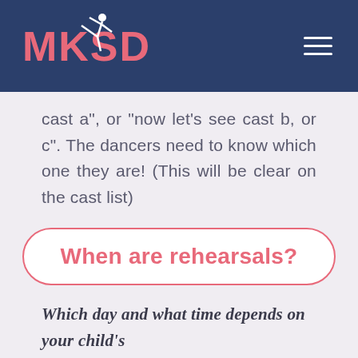[Figure (logo): MKSD dance studio logo with pink text and white dancer silhouette on dark navy background, with hamburger menu icon]
cast a", or "now let's see cast b, or c". The dancers need to know which one they are! (This will be clear on the cast list)
When are rehearsals?
Which day and what time depends on your child's